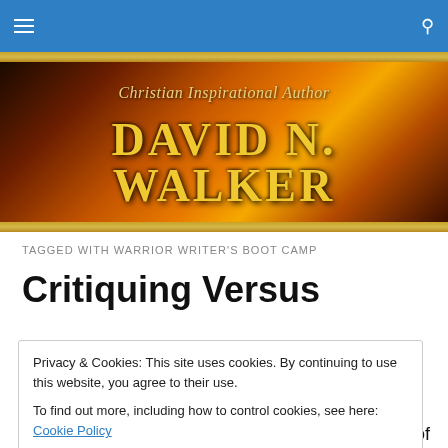Navigation bar with hamburger menu and search icon
[Figure (illustration): Website banner with orange/red sunset sky background. Text reads 'Christian Inspirational Author' in italic script above 'DAVID N. WALKER' in large bold gold serif letters.]
TAGGED WITH WARRIOR WRITER'S BOOT CAMP
Critiquing Versus
Privacy & Cookies: This site uses cookies. By continuing to use this website, you agree to their use.
To find out more, including how to control cookies, see here: Cookie Policy
Close and accept
was our turn. We would also print enough copies of our